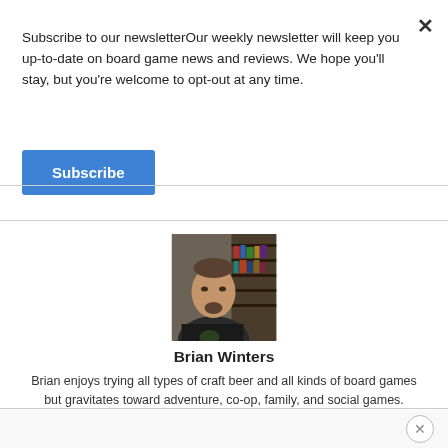Subscribe to our newsletterOur weekly newsletter will keep you up-to-date on board game news and reviews. We hope you'll stay, but you're welcome to opt-out at any time.
Subscribe
[Figure (photo): Portrait photo of Brian Winters, a man with a goatee wearing a dark t-shirt, with board games visible in the background.]
Brian Winters
Brian enjoys trying all types of craft beer and all kinds of board games but gravitates toward adventure, co-op, family, and social games.